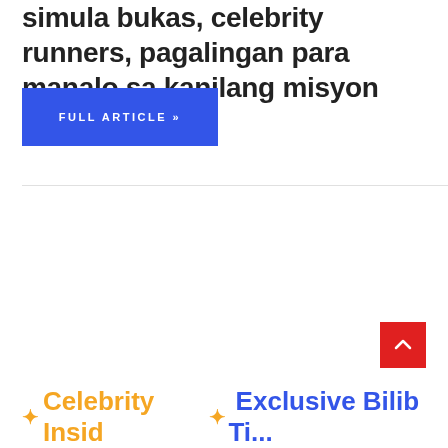simula bukas, celebrity runners, pagalingan para manalo sa kanilang misyon Tatakbo ...
FULL ARTICLE »
✦ Celebrity Insid ✦ Exclusive Bilib Ti...